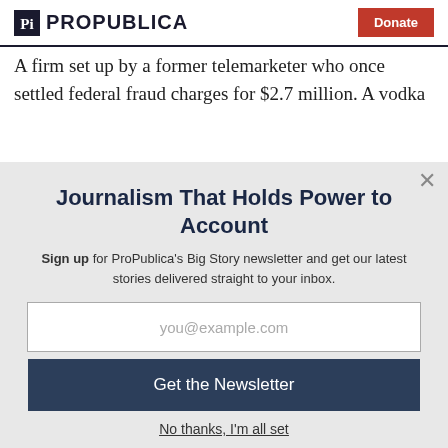ProPublica | Donate
A firm set up by a former telemarketer who once settled federal fraud charges for $2.7 million. A vodka
Journalism That Holds Power to Account
Sign up for ProPublica's Big Story newsletter and get our latest stories delivered straight to your inbox.
you@example.com
Get the Newsletter
No thanks, I'm all set
This site is protected by reCAPTCHA and the Google Privacy Policy and Terms of Service apply.